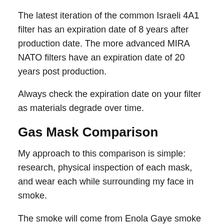The latest iteration of the common Israeli 4A1 filter has an expiration date of 8 years after production date. The more advanced MIRA NATO filters have an expiration date of 20 years post production.
Always check the expiration date on your filter as materials degrade over time.
Gas Mask Comparison
My approach to this comparison is simple: research, physical inspection of each mask, and wear each while surrounding my face in smoke.
The smoke will come from Enola Gaye smoke grenades. These are wire-pull smoke bombs that are popular among photographers and people who play Airsoft.